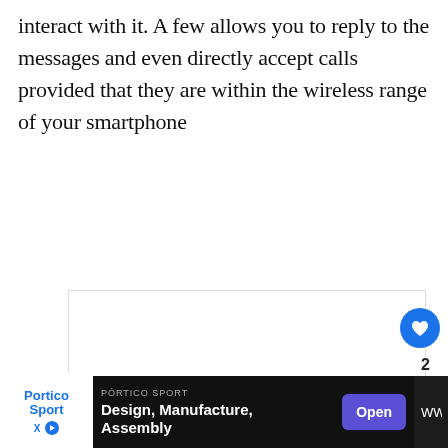interact with it. A few allows you to reply to the messages and even directly accept calls provided that they are within the wireless range of your smartphone
[Figure (screenshot): White image area with navigation dots and a 'WHAT'S NEXT' badge showing Garmin Forerunner in bottom right, plus like and share buttons on the right side]
PÓRTICO SPORT
Design, Manufacture, Assembly